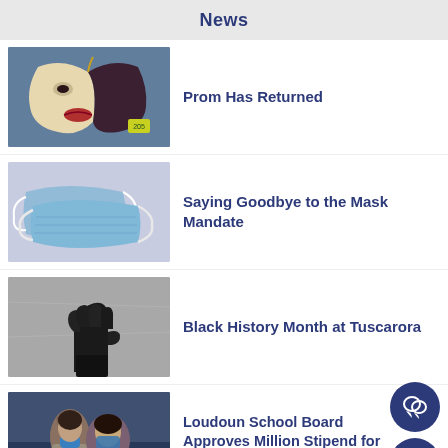News
[Figure (photo): A decorative masquerade mask with black and cream halves, red lips, and gold accents, resting on a blue fabric.]
Prom Has Returned
[Figure (photo): Two light blue disposable face masks on a pale lavender-gray background.]
Saying Goodbye to the Mask Mandate
[Figure (photo): A black-and-white photo of a raised fist in the air against a concrete wall background.]
Black History Month at Tuscarora
[Figure (photo): A person wearing a blue mask with arm raised in a crowded indoor setting.]
Loudoun School Board Approves Million Stipend for After School Performing Arts